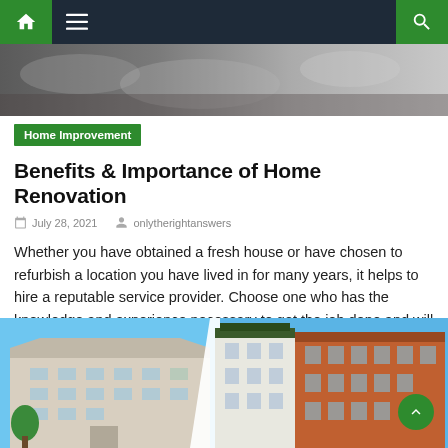Navigation bar with home icon, menu icon, and search icon
[Figure (photo): Hero image strip showing a blurred outdoor/garden scene]
Home Improvement
Benefits & Importance of Home Renovation
July 28, 2021   onlytherightanswers
Whether you have obtained a fresh house or have chosen to refurbish a location you have lived in for many years, it helps to hire a reputable service provider. Choose one who has the knowledge and experience necessary to get the job done and will be offering reliable home renovation services. Know what you want [...]
[Figure (photo): Bottom image showing apartment buildings and city brownstone buildings side by side under a blue sky]